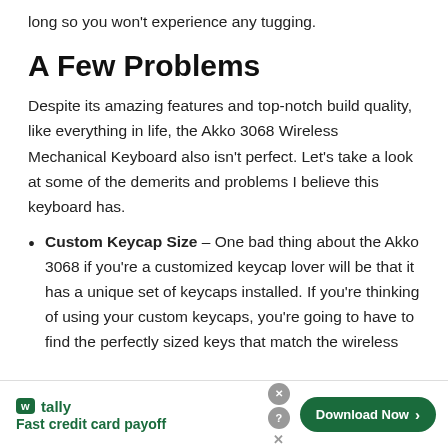long so you won't experience any tugging.
A Few Problems
Despite its amazing features and top-notch build quality, like everything in life, the Akko 3068 Wireless Mechanical Keyboard also isn't perfect. Let's take a look at some of the demerits and problems I believe this keyboard has.
Custom Keycap Size – One bad thing about the Akko 3068 if you're a customized keycap lover will be that it has a unique set of keycaps installed. If you're thinking of using your custom keycaps, you're going to have to find the perfectly sized keys that match the wireless
[Figure (other): Tally app advertisement banner with tagline 'Fast credit card payoff' and a 'Download Now' button]